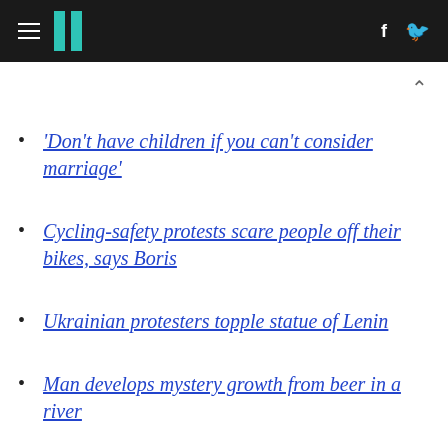HuffPost navigation header with hamburger menu, logo, Facebook and Twitter icons
'Don't have children if you can't consider marriage'
Cycling-safety protests scare people off their bikes, says Boris
Ukrainian protesters topple statue of Lenin
Man develops mystery growth from beer in a river